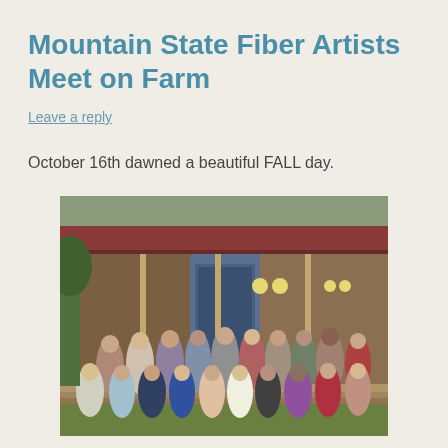Mountain State Fiber Artists Meet on Farm
Leave a reply
October 16th dawned a beautiful FALL day.
[Figure (photo): Group photo of approximately 20 women standing in front of a rustic wooden farm building with a red metal roof. The group is arranged in two rows on a porch/steps area.]